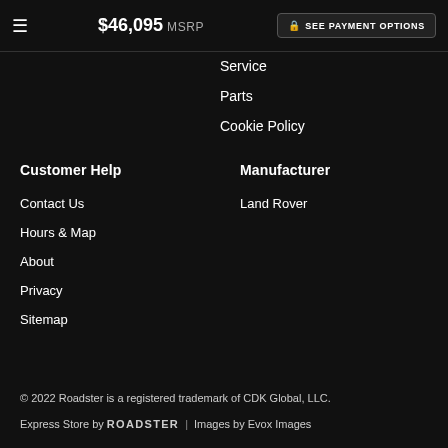$46,095 MSRP | SEE PAYMENT OPTIONS
Service
Parts
Cookie Policy
Customer Help
Contact Us
Hours & Map
About
Privacy
Sitemap
Manufacturer
Land Rover
© 2022 Roadster is a registered trademark of CDK Global, LLC.
Express Store by ROADSTER  |  Images by Evox Images